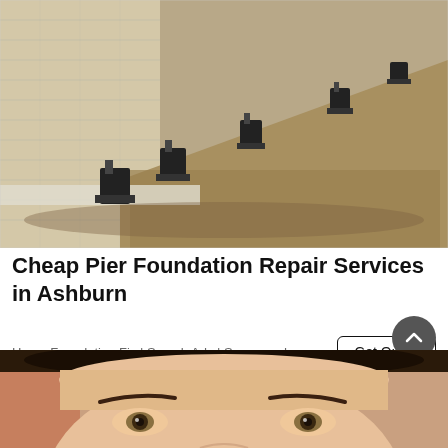[Figure (photo): Construction photo showing foundation pier repair work: excavated trench along a brick/block wall with multiple black steel pier brackets installed at the base of the foundation.]
Cheap Pier Foundation Repair Services in Ashburn
Home Foundation Fix | Search Ads | Sponsored
[Figure (photo): Close-up photo of a woman's face from the nose up, showing eyes and forehead, with dark hair pulled back.]